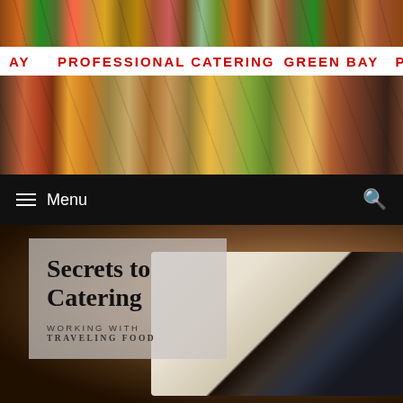[Figure (photo): Top strip of diagonal food photo collage showing various catered dishes]
AY   PROFESSIONAL CATERING   GREEN BAY   PR
[Figure (photo): Second strip of diagonal food photo collage showing various catered dishes]
[Figure (screenshot): Website navigation bar with hamburger menu icon, 'Menu' text, and search icon on black background]
[Figure (photo): Catering buffet table with dishes, chafing dishes, and food spread in a dimly lit venue]
Secrets to Catering
WORKING WITH TRAVELING FOOD